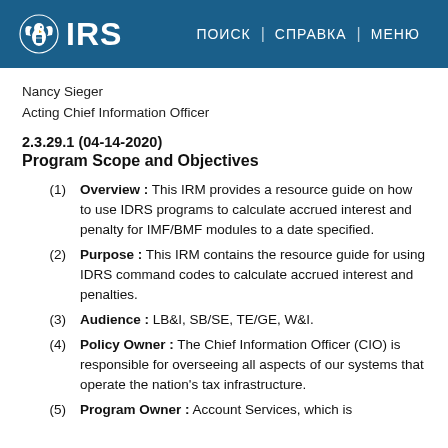IRS | ПОИСК | СПРАВКА | МЕНЮ
Nancy Sieger
Acting Chief Information Officer
2.3.29.1 (04-14-2020)
Program Scope and Objectives
(1) Overview: This IRM provides a resource guide on how to use IDRS programs to calculate accrued interest and penalty for IMF/BMF modules to a date specified.
(2) Purpose: This IRM contains the resource guide for using IDRS command codes to calculate accrued interest and penalties.
(3) Audience: LB&I, SB/SE, TE/GE, W&I.
(4) Policy Owner: The Chief Information Officer (CIO) is responsible for overseeing all aspects of our systems that operate the nation's tax infrastructure.
(5) Program Owner: Account Services, which is